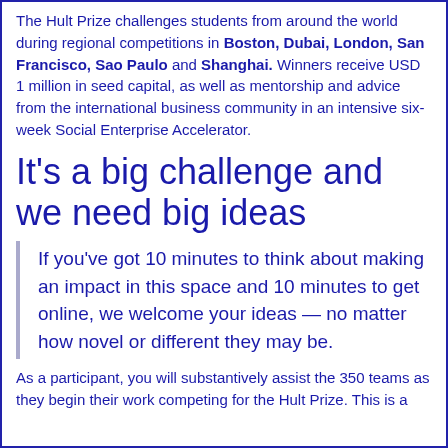The Hult Prize challenges students from around the world during regional competitions in Boston, Dubai, London, San Francisco, Sao Paulo and Shanghai. Winners receive USD 1 million in seed capital, as well as mentorship and advice from the international business community in an intensive six-week Social Enterprise Accelerator.
It's a big challenge and we need big ideas
If you've got 10 minutes to think about making an impact in this space and 10 minutes to get online, we welcome your ideas — no matter how novel or different they may be.
As a participant, you will substantively assist the 350 teams as they begin their work competing for the Hult Prize. This is a